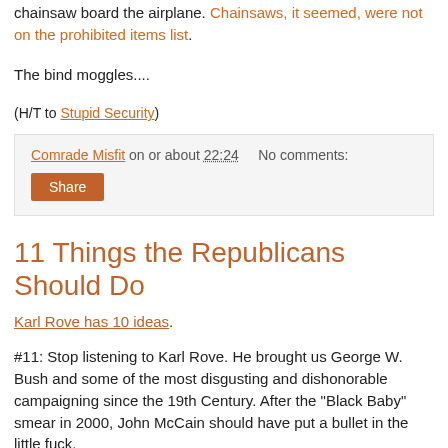chainsaw board the airplane. Chainsaws, it seemed, were not on the prohibited items list.
The bind moggles....
(H/T to Stupid Security)
Comrade Misfit on or about 22:24    No comments:
11 Things the Republicans Should Do
Karl Rove has 10 ideas.
#11: Stop listening to Karl Rove. He brought us George W. Bush and some of the most disgusting and dishonorable campaigning since the 19th Century. After the "Black Baby" smear in 2000, John McCain should have put a bullet in the little fuck.